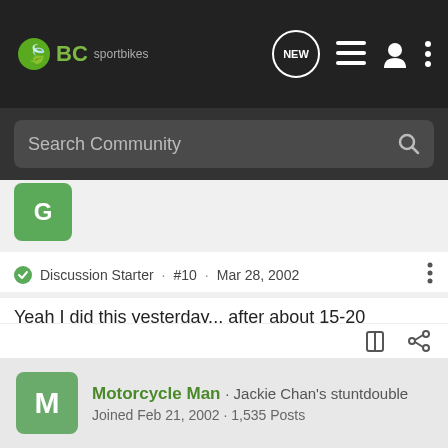BC sportbikes
Search Community
Discussion Starter · #10 · Mar 28, 2002
Yeah I did this yesterday... after about 15-20 seconds, I took off the choke slowly, if the bike sounded like it was going to die then i turned up hte idle a bit... till the choke was totally off then i turned down the idle as it got warmer..... so now i know how it likes it. Thanks everyone!
Motorcycle Man · Jackie Chan's stuntdouble
Joined Feb 21, 2002 · 1,535 Posts